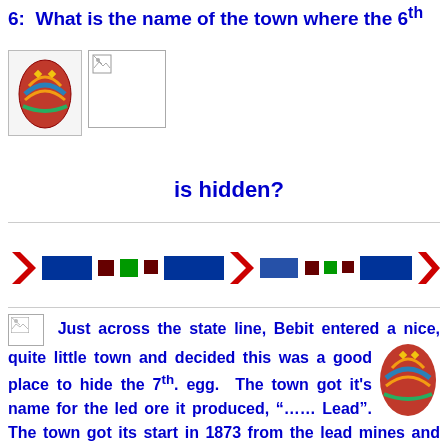6:  What is the name of the town where the 6th [egg image] [image] is hidden?
[Figure (illustration): Decorative banner with red arrow shapes, dark blue rectangles, small colored squares in a repeating pattern]
Just across the state line, Bebit entered a nice, quite little town and decided this was a good place to hide the 7th. egg.  The town got it's name for the led ore it produced, “……. Lead”.  The town got its start in 1873 from the lead mines and this mining tradition continued until 1973.  During the turn of the Twentieth Century,  this town…… was one of the most prosperous towns